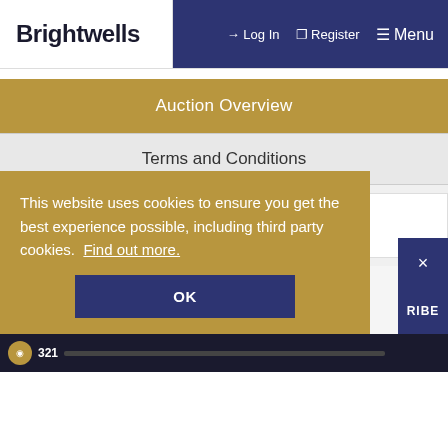Brightwells | Log In | Register | Menu
Auction Overview
Terms and Conditions
Wine, Port & Champagne
Contact details
Address: Easters Court, Mill Street, Leominster,
This website uses cookies to ensure you get the best experience possible, including third party cookies. Find out more.
OK